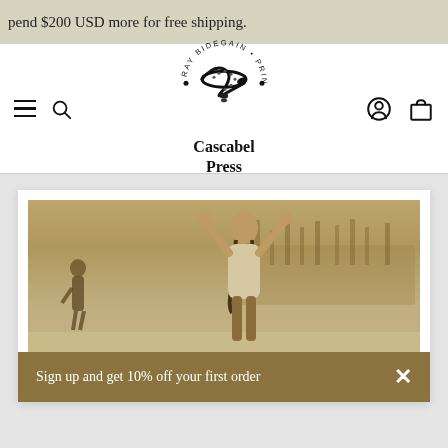pend $200 USD more for free shipping.
[Figure (logo): Cascabel Press logo — stylized coiled snake with circular text reading 'RAY BIDEGAIN • PRINTMAKER' around it, with the text 'Cascabel Press' below in bold serif font]
[Figure (photo): Sepia-toned photograph of a woman with braided hair raising both arms upward, wearing a white top, standing in a snowy outdoor landscape. A shadowy figure stands in the background to the left. Trees are visible in the distance.]
Sign up and get 10% off your first order